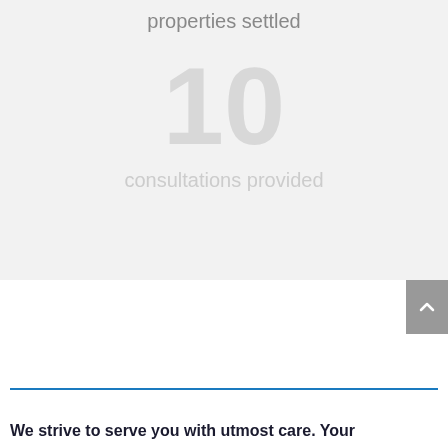properties settled
10
consultations provided
We strive to serve you with utmost care. Your